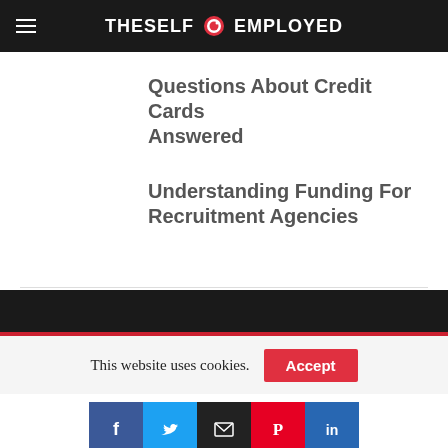THESELF EMPLOYED
Questions About Credit Cards Answered
Understanding Funding For Recruitment Agencies
This website uses cookies.
Accept
[Figure (other): Social share buttons: Facebook, Twitter, Email, Pinterest, LinkedIn]